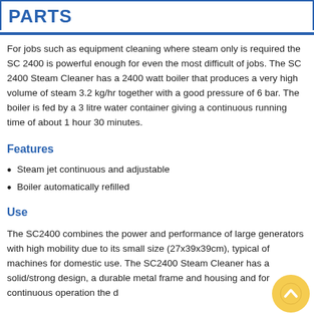PARTS
For jobs such as equipment cleaning where steam only is required the SC 2400 is powerful enough for even the most difficult of jobs. The SC 2400 Steam Cleaner has a 2400 watt boiler that produces a very high volume of steam 3.2 kg/hr together with a good pressure of 6 bar. The boiler is fed by a 3 litre water container giving a continuous running time of about 1 hour 30 minutes.
Features
Steam jet continuous and adjustable
Boiler automatically refilled
Use
The SC2400 combines the power and performance of large generators with high mobility due to its small size (27x39x39cm), typical of machines for domestic use. The SC2400 Steam Cleaner has a solid/strong design, a durable metal frame and housing and for continuous operation the d